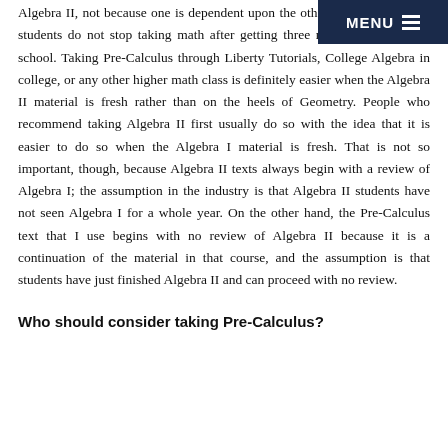MENU
Algebra II, not because one is dependent upon the other, but because most students do not stop taking math after getting three math credits in high school. Taking Pre-Calculus through Liberty Tutorials, College Algebra in college, or any other higher math class is definitely easier when the Algebra II material is fresh rather than on the heels of Geometry. People who recommend taking Algebra II first usually do so with the idea that it is easier to do so when the Algebra I material is fresh. That is not so important, though, because Algebra II texts always begin with a review of Algebra I; the assumption in the industry is that Algebra II students have not seen Algebra I for a whole year. On the other hand, the Pre-Calculus text that I use begins with no review of Algebra II because it is a continuation of the material in that course, and the assumption is that students have just finished Algebra II and can proceed with no review.
Who should consider taking Pre-Calculus?